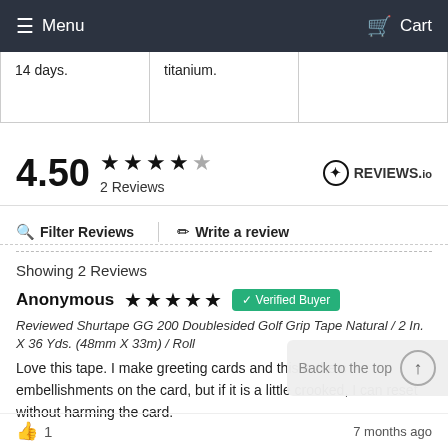Menu   Cart
| 14 days. | titanium. |  |
4.50  ★★★★½  2 Reviews
Filter Reviews   Write a review
Showing 2 Reviews
Anonymous  ★★★★★  ✓ Verified Buyer
Reviewed Shurtape GG 200 Doublesided Golf Grip Tape Natural / 2 In. X 36 Yds. (48mm X 33m) / Roll
Love this tape. I make greeting cards and this is the c... embellishments on the card, but if it is a little crooked, I can reset without harming the card.
7 months ago